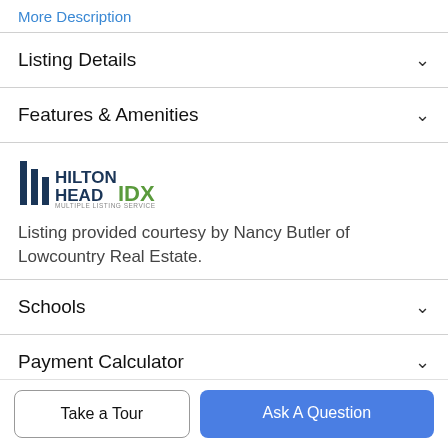More Description
Listing Details
Features & Amenities
[Figure (logo): Hilton Head IDX Multiple Listing Service logo]
Listing provided courtesy by Nancy Butler of Lowcountry Real Estate.
Schools
Payment Calculator
Take a Tour
Ask A Question